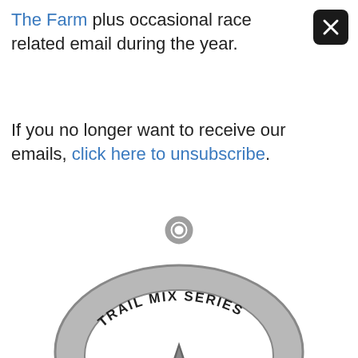The Farm plus occasional race related email during the year.
If you no longer want to receive our emails, click here to unsubscribe.
[Figure (photo): A silver metal race medal/charm shaped like an oval with a loop at the top for hanging. The medal has 'TRAIL MIX SERIES' engraved in bold text around the upper inside edge. Inside the oval cutout is a detailed scene of a mountain peak with trees and running figures silhouetted at the base.]